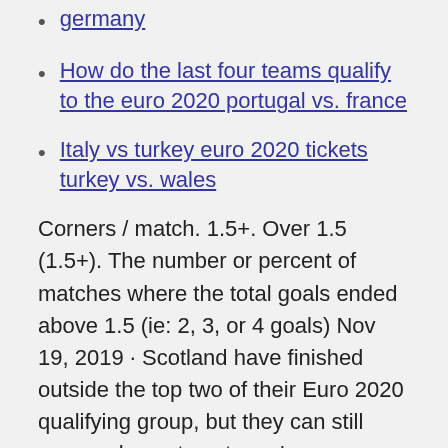germany
How do the last four teams qualify to the euro 2020 portugal vs. france
Italy vs turkey euro 2020 tickets turkey vs. wales
Corners / match. 1.5+. Over 1.5 (1.5+). The number or percent of matches where the total goals ended above 1.5 (ie: 2, 3, or 4 goals) Nov 19, 2019 · Scotland have finished outside the top two of their Euro 2020 qualifying group, but they can still earn a place at next year's tournament via the Nations League. By Finlay Greig Tuesday, 19th Nov 30, 2019 · Scotland finished third in their qualifying group, but could still reach the finals should they beat Israel on 26 March at Hampden, followed by a win in the play-off final away to either Norway or Get exclusive hospitality for all seven